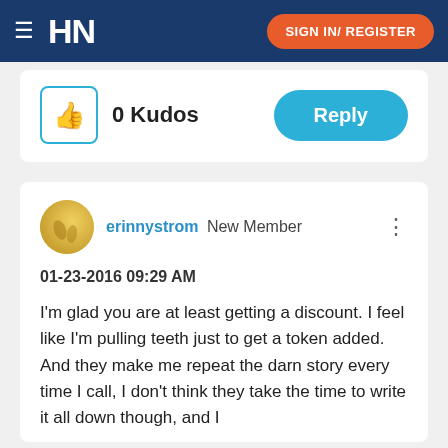HN  SIGN IN/ REGISTER
0 Kudos
Reply
erinnystrom New Member
01-23-2016 09:29 AM
I'm glad you are at least getting a discount. I feel like I'm pulling teeth just to get a token added. And they make me repeat the darn story every time I call, I don't think they take the time to write it all down though, and I found the continuity that you expected only